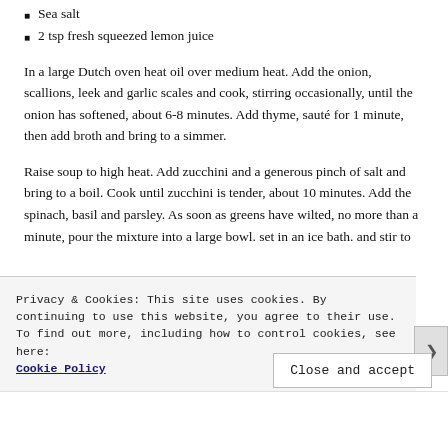Sea salt
2 tsp fresh squeezed lemon juice
In a large Dutch oven heat oil over medium heat. Add the onion, scallions, leek and garlic scales and cook, stirring occasionally, until the onion has softened, about 6-8 minutes. Add thyme, sauté for 1 minute, then add broth and bring to a simmer.
Raise soup to high heat. Add zucchini and a generous pinch of salt and bring to a boil. Cook until zucchini is tender, about 10 minutes. Add the spinach, basil and parsley. As soon as greens have wilted, no more than a minute, pour the mixture into a large bowl. set in an ice bath. and stir to
Privacy & Cookies: This site uses cookies. By continuing to use this website, you agree to their use.
To find out more, including how to control cookies, see here:
Cookie Policy
Close and accept